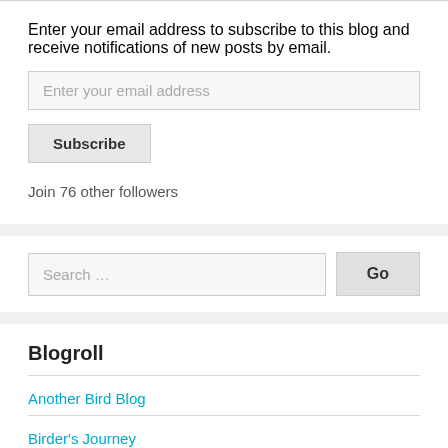Enter your email address to subscribe to this blog and receive notifications of new posts by email.
[Figure (other): Email address input field with placeholder text 'Enter your email address']
[Figure (other): Subscribe button]
Join 76 other followers
[Figure (other): Search input field with placeholder 'Search ...' and a Go button]
Blogroll
Another Bird Blog
Birder's Journey